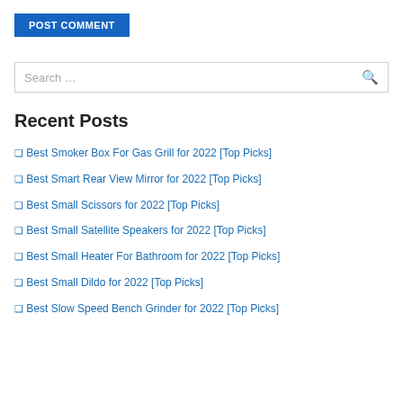POST COMMENT
Search …
Recent Posts
❑ Best Smoker Box For Gas Grill for 2022 [Top Picks]
❑ Best Smart Rear View Mirror for 2022 [Top Picks]
❑ Best Small Scissors for 2022 [Top Picks]
❑ Best Small Satellite Speakers for 2022 [Top Picks]
❑ Best Small Heater For Bathroom for 2022 [Top Picks]
❑ Best Small Dildo for 2022 [Top Picks]
❑ Best Slow Speed Bench Grinder for 2022 [Top Picks]